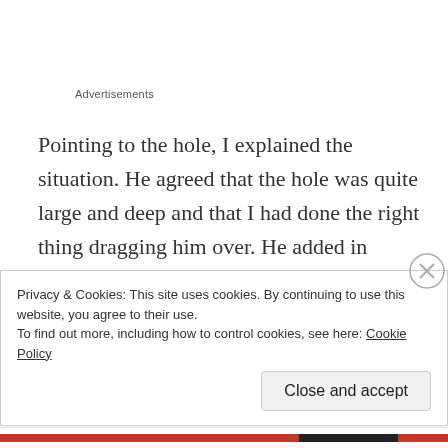Advertisements
Pointing to the hole, I explained the situation. He agreed that the hole was quite large and deep and that I had done the right thing dragging him over. He added in frustration, “It’s just that the Tidal Basin is crumbling. We put these barriers up to keep people away from this section, but that doesn’t stop them when there are cherry blossoms.”
Privacy & Cookies: This site uses cookies. By continuing to use this website, you agree to their use.
To find out more, including how to control cookies, see here: Cookie Policy
Close and accept